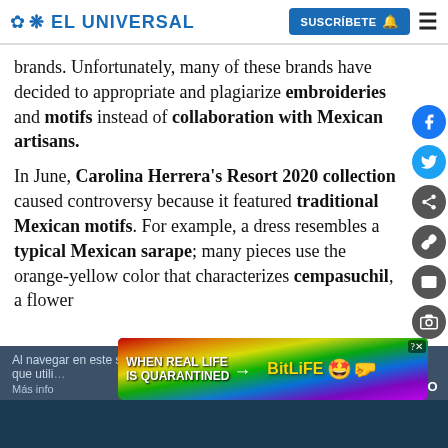EL UNIVERSAL | SUSCRÍBETE
brands. Unfortunately, many of these brands have decided to appropriate and plagiarize embroideries and motifs instead of collaboration with Mexican artisans.

In June, Carolina Herrera's Resort 2020 collection caused controversy because it featured traditional Mexican motifs. For example, a dress resembles a typical Mexican sarape; many pieces use the orange-yellow color that characterizes cempasuchil, a flower
[Figure (screenshot): Cookie consent banner at bottom: 'Al navegar en este sitio aceptas las cookies que utili...' with 'Más info' and 'ACEPTO' button. Overlaid by a BitLife advertisement banner with rainbow background, 'WHEN REAL LIFE IS QUARANTINED' text and BitLife logo.]